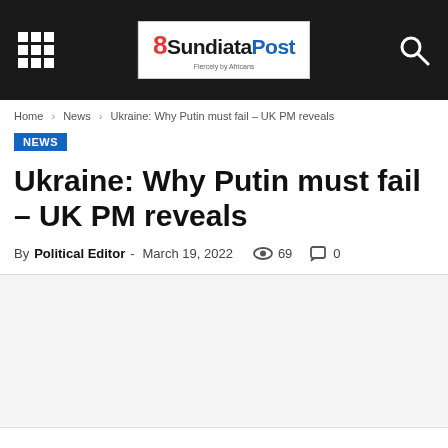SundiataPost — site header with grid menu, logo, and search icon
Home › News › Ukraine: Why Putin must fail – UK PM reveals
NEWS
Ukraine: Why Putin must fail – UK PM reveals
By Political Editor - March 19, 2022  69  0